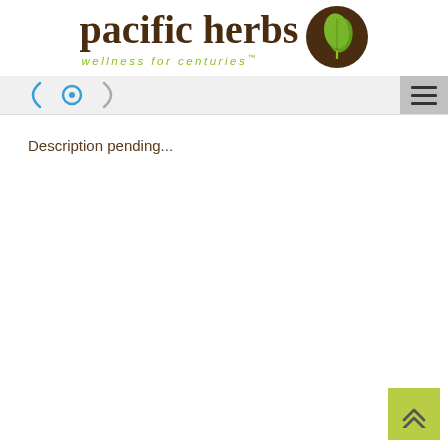[Figure (logo): Pacific Herbs logo with brown circle containing a green leaf icon, text 'pacific herbs' in brown serif font, tagline 'wellness for centuries' in green italic text below]
[Figure (screenshot): Navigation bar with hamburger menu icon on the right side and partial navigation icons visible on the left]
Description pending...
[Figure (other): Yellow-green back-to-top button with double upward chevron arrow in the bottom right corner]